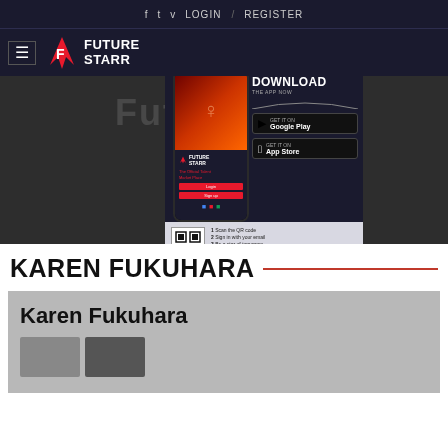f  t  v  LOGIN / REGISTER
[Figure (logo): Future Starr logo with hamburger menu icon]
[Figure (infographic): Future Starr app advertisement showing phone mockup, Download the App Now text, Google Play and App Store buttons, QR code, website www.futurestarr.com]
KAREN FUKUHARA
Karen Fukuhara